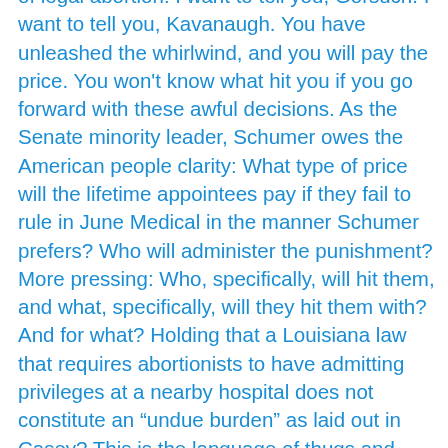Scum and said the following to a crowd of Nass supporters of legal abortion: I want to tell you, Gorsuch. I want to tell you, Kavanaugh. You have unleashed the whirlwind, and you will pay the price. You won't know what hit you if you go forward with these awful decisions. As the Senate minority leader, Schumer owes the American people clarity: What type of price will the lifetime appointees pay if they fail to rule in June Medical in the manner Schumer prefers? Who will administer the punishment? More pressing: Who, specifically, will hit them, and what, specifically, will they hit them with? And for what? Holding that a Louisiana law that requires abortionists to have admitting privileges at a nearby hospital does not constitute an “undue burden” as laid out in Casey? This is the language of thugs and demagogues. Schumer has time and again proven himself to be both.